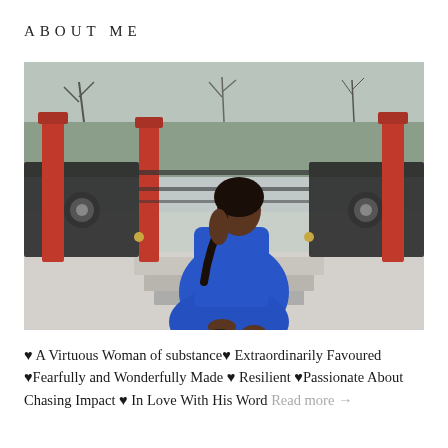ABOUT ME
[Figure (photo): A woman in a royal blue dress sitting on ornate black metal steps near a decorative iron railing, with red lamp posts and trees in the background. An outdoor park setting on a grey day.]
♥ A Virtuous Woman of substance♥ Extraordinarily Favoured ♥Fearfully and Wonderfully Made ♥ Resilient ♥Passionate About Chasing Impact ♥ In Love With His Word Read more →